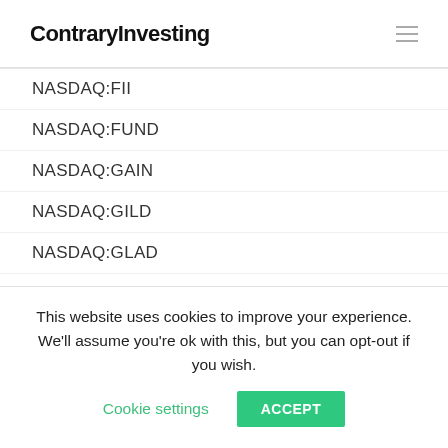ContraryInvesting
NASDAQ:FII
NASDAQ:FUND
NASDAQ:GAIN
NASDAQ:GILD
NASDAQ:GLAD
NASDAQ:GLDI
NASDAQ:GLPI
NASDAQ:GOOD
NASDAQ:GOOG
This website uses cookies to improve your experience. We'll assume you're ok with this, but you can opt-out if you wish.
Cookie settings  ACCEPT